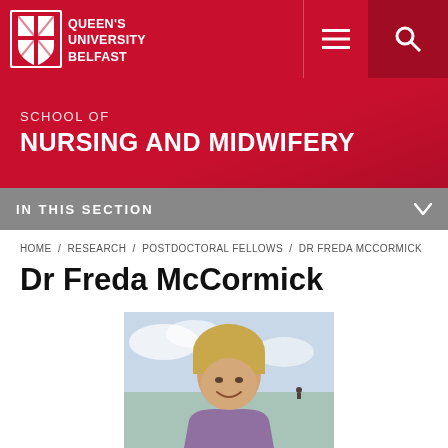Queen's University Belfast
School of Nursing and Midwifery
IN THIS SECTION
HOME / RESEARCH / POSTDOCTORAL FELLOWS / DR FREDA MCCORMICK
Dr Freda McCormick
[Figure (photo): Portrait photo of Dr Freda McCormick, a woman with blonde hair, smiling, outdoors with a seaside background]